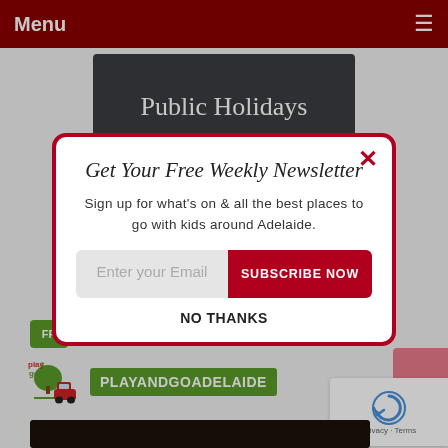Menu
Public Holidays
[Figure (screenshot): Newsletter signup modal overlay on a website. Modal has a red border, close X button, script-font title 'Get Your Free Weekly Newsletter', body text, email input field, red Subscribe Now button, and NO THANKS link. Background shows Public Holidays chalkboard banner, Play and Go Adelaide logo, and navigation elements.]
Get Your Free Weekly Newsletter
Sign up for what's on & all the best places to go with kids around Adelaide.
Enter your Email
SUBSCRIBE NOW
NO THANKS
PLAYANDGOADELAIDE